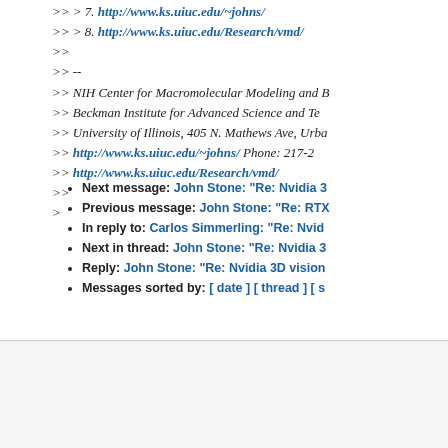>> > 7. http://www.ks.uiuc.edu/~johns/
>> > 8. http://www.ks.uiuc.edu/Research/vmd/
>>
>> --
>> NIH Center for Macromolecular Modeling and B
>> Beckman Institute for Advanced Science and Te
>> University of Illinois, 405 N. Mathews Ave, Urba
>> http://www.ks.uiuc.edu/~johns/ Phone: 217-2
>> http://www.ks.uiuc.edu/Research/vmd/
>>
>
Next message: John Stone: "Re: Nvidia 3..."
Previous message: John Stone: "Re: RTX..."
In reply to: Carlos Simmerling: "Re: Nvid..."
Next in thread: John Stone: "Re: Nvidia 3..."
Reply: John Stone: "Re: Nvidia 3D vision..."
Messages sorted by: [ date ] [ thread ] [ s..."
Funded by a grant from the National Institute of General Medical Sciences of the National Institutes of Health
[Figure (logo): NSF logo - blue circular badge]
[Figure (logo): Center for the Physics of Living Cells logo]
Beckman Institute for Advanced Science and Technology, National Science Foundation, University of Illinois at Urbana-Champaign. Contact Us // Material on this page... Document last modified on...